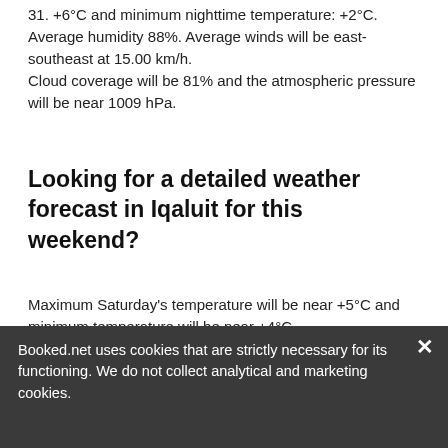31. +6°C and minimum nighttime temperature: +2°C. Average humidity 88%. Average winds will be east-southeast at 15.00 km/h. Cloud coverage will be 81% and the atmospheric pressure will be near 1009 hPa.
Looking for a detailed weather forecast in Iqaluit for this weekend?
Maximum Saturday's temperature will be near +5°C and minimum temperature will be near +4°C. Average humidity 88%. Average winds will be southeast at 14.72 km/h. 1001 hPa of atmospheric pressure and 100% cloud coverage.
Booked.net uses cookies that are strictly necessary for its functioning. We do not collect analytical and marketing cookies.
Looking for a place to stay in Iqaluit?